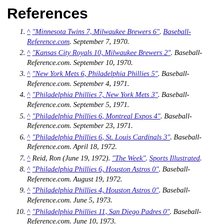References
^ "Minnesota Twins 7, Milwaukee Brewers 6". Baseball-Reference.com. September 7, 1970.
^ "Kansas City Royals 10, Milwaukee Brewers 2". Baseball-Reference.com. September 10, 1970.
^ "New York Mets 6, Philadelphia Phillies 5". Baseball-Reference.com. September 4, 1971.
^ "Philadelphia Phillies 7, New York Mets 3". Baseball-Reference.com. September 5, 1971.
^ "Philadelphia Phillies 6, Montreal Expos 4". Baseball-Reference.com. September 23, 1971.
^ "Philadelphia Phillies 6, St. Louis Cardinals 3". Baseball-Reference.com. April 18, 1972.
^ Reid, Ron (June 19, 1972). "The Week". Sports Illustrated.
^ "Philadelphia Phillies 6, Houston Astros 0". Baseball-Reference.com. August 19, 1972.
^ "Philadelphia Phillies 4, Houston Astros 0". Baseball-Reference.com. June 5, 1973.
^ "Philadelphia Phillies 11, San Diego Padres 0". Baseball-Reference.com. June 10, 1973.
^ "1973 Major League Baseball All-Star Game". Baseball-Reference.com. July 24, 1973.
^ "Philadelphia Phillies 5, Pittsburgh Pirates 0". Baseball-Reference.com. July 28, 1973.